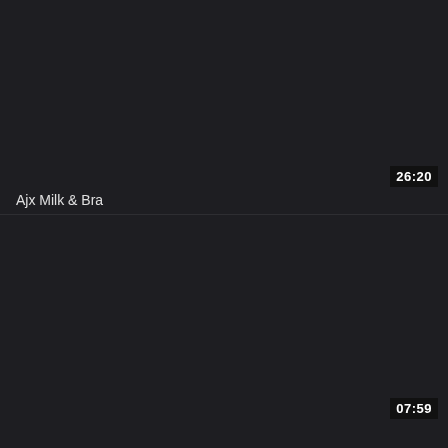[Figure (screenshot): Dark background video thumbnail placeholder, top card]
26:20
Ajx Milk & Bra
[Figure (screenshot): Dark background video thumbnail placeholder, bottom card]
07:59